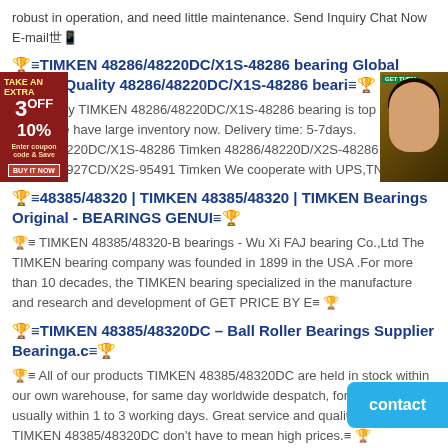robust in operation, and need little maintenance. Send Inquiry Chat Now E-mail≡ 🏆
🏆≡TIMKEN 48286/48220DC/X1S-48286 bearing Global supply Quality 48286/48220DC/X1S-48286 beari≡🏆
Our quality TIMKEN 48286/48220DC/X1S-48286 bearing is top in the world. We have large inventory now. Delivery time: 5-7days. 48286/48220DC/X1S-48286 Timken 48286/48220D/X2S-48286 Timken 95491/95927CD/X2S-95491 Timken We cooperate with UPS,TNT≡ 🏆
🏆≡48385/48320 | TIMKEN 48385/48320 | TIMKEN Bearings Original - BEARINGS GENUI≡🏆
🏆≡ TIMKEN 48385/48320-B bearings - Wu Xi FAJ bearing Co.,Ltd The TIMKEN bearing company was founded in 1899 in the USA .For more than 10 decades, the TIMKEN bearing specialized in the manufacture and research and development of GET PRICE BY E≡ 🏆
🏆≡TIMKEN 48385/48320DC – Ball Roller Bearings Supplier Bearinga.c≡🏆
🏆≡ All of our products TIMKEN 48385/48320DC are held in stock within our own warehouse, for same day worldwide despatch, for delivery usually within 1 to 3 working days. Great service and quality bearings TIMKEN 48385/48320DC don't have to mean high prices.≡ 🏆